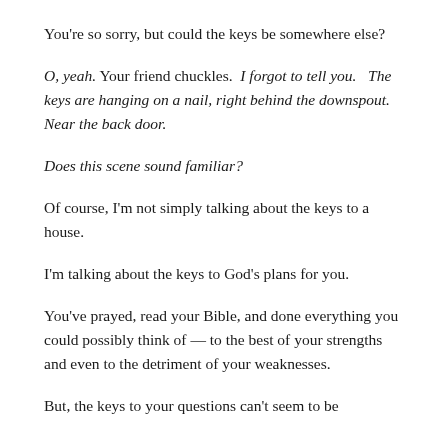You're so sorry, but could the keys be somewhere else?
O, yeah. Your friend chuckles. I forgot to tell you. The keys are hanging on a nail, right behind the downspout. Near the back door.
Does this scene sound familiar?
Of course, I'm not simply talking about the keys to a house.
I'm talking about the keys to God's plans for you.
You've prayed, read your Bible, and done everything you could possibly think of — to the best of your strengths and even to the detriment of your weaknesses.
But, the keys to your questions can't seem to be